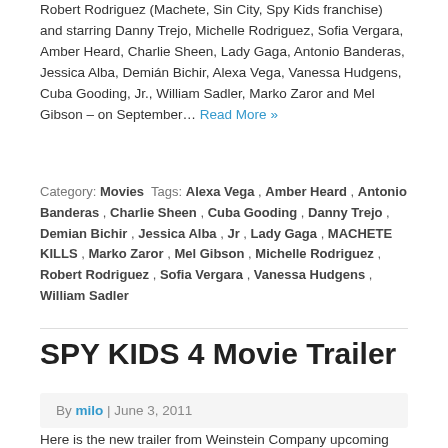Robert Rodriguez (Machete, Sin City, Spy Kids franchise) and starring Danny Trejo, Michelle Rodriguez, Sofia Vergara, Amber Heard, Charlie Sheen, Lady Gaga, Antonio Banderas, Jessica Alba, Demián Bichir, Alexa Vega, Vanessa Hudgens, Cuba Gooding, Jr., William Sadler, Marko Zaror and Mel Gibson – on September… Read More »
Category: Movies Tags: Alexa Vega , Amber Heard , Antonio Banderas , Charlie Sheen , Cuba Gooding , Danny Trejo , Demian Bichir , Jessica Alba , Jr , Lady Gaga , MACHETE KILLS , Marko Zaror , Mel Gibson , Michelle Rodriguez , Robert Rodriguez , Sofia Vergara , Vanessa Hudgens , William Sadler
SPY KIDS 4 Movie Trailer
By milo | June 3, 2011
Here is the new trailer from Weinstein Company upcoming